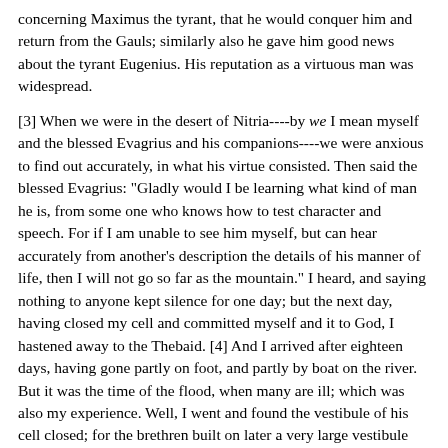concerning Maximus the tyrant, that he would conquer him and return from the Gauls; similarly also he gave him good news about the tyrant Eugenius. His reputation as a virtuous man was widespread.
[3] When we were in the desert of Nitria----by we I mean myself and the blessed Evagrius and his companions----we were anxious to find out accurately, in what his virtue consisted. Then said the blessed Evagrius: "Gladly would I be learning what kind of man he is, from some one who knows how to test character and speech. For if I am unable to see him myself, but can hear accurately from another's description the details of his manner of life, then I will not go so far as the mountain." I heard, and saying nothing to anyone kept silence for one day; but the next day, having closed my cell and committed myself and it to God, I hastened away to the Thebaid. [4] And I arrived after eighteen days, having gone partly on foot, and partly by boat on the river. But it was the time of the flood, when many are ill; which was also my experience. Well, I went and found the vestibule of his cell closed; for the brethren built on later a very large vestibule holding about 100 men, and shutting it with a key they opened it on Saturday and Sunday. So, having learned the reason why it was closed, I waited quietly till the Saturday. And having come at the second hour for an interview I found him sitting by the window, through which he seemed to be exhorting[231] his visitors. [5] So, [122] after greeting